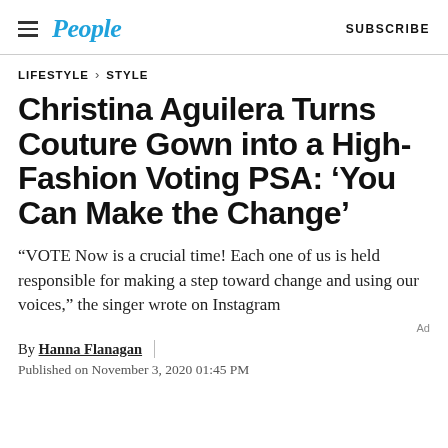People | SUBSCRIBE
LIFESTYLE > STYLE
Christina Aguilera Turns Couture Gown into a High-Fashion Voting PSA: ‘You Can Make the Change’
“VOTE Now is a crucial time! Each one of us is held responsible for making a step toward change and using our voices,” the singer wrote on Instagram
By Hanna Flanagan | Published on November 3, 2020 01:45 PM